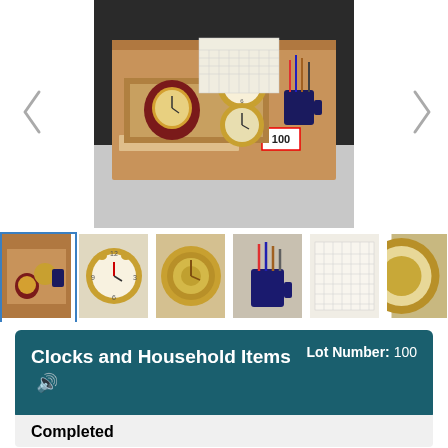[Figure (photo): Main auction photo showing a cardboard box containing multiple clocks (a brass alarm clock, a round desk clock, a wooden-framed clock) and household items including a mug with pencils/pens, a wooden tray organizer, and a calendar. A price tag showing '100' is visible on the box.]
[Figure (photo): Thumbnail 1 (active/selected): Overview of the lot box with clocks and household items]
[Figure (photo): Thumbnail 2: Close-up of a brass/gold alarm clock face]
[Figure (photo): Thumbnail 3: Close-up of a round gold ship-style clock face]
[Figure (photo): Thumbnail 4: Blue mug with pens and pencils]
[Figure (photo): Thumbnail 5: Calendar page with crossword-style grid]
[Figure (photo): Thumbnail 6: Partial view of a round clock]
Clocks and Household Items
Lot Number: 100
Completed